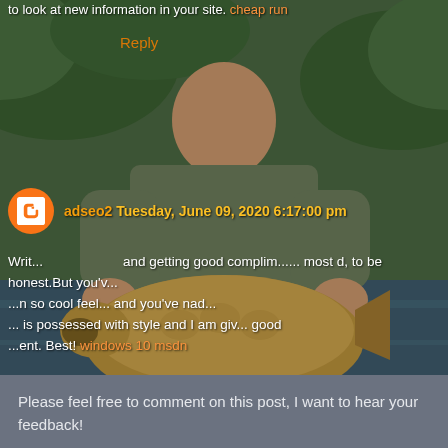[Figure (photo): A man smiling and holding a large carp fish at a lake/river, with green vegetation in the background. The photo serves as the background for a blog comment section.]
to look at new information in your site. cheap run
Reply
adseo2 Tuesday, June 09, 2020 6:17:00 pm
Writing... and getting good compliment... most d, to be honest.But you've... n so cool feel... and you've had... is possessed with style and I am giving good ... ent. Best! windows 10 msdn
Reply
To leave a comment, click the button below to sign in with Google.
SIGN IN WITH GOOGLE
Please feel free to comment on this post, I want to hear your feedback!